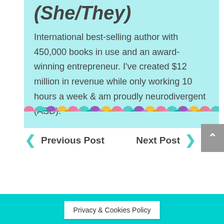(She/They)
International best-selling author with 450,000 books in use and an award-winning entrepreneur. I've created $12 million in revenue while only working 10 hours a week & am proudly neurodivergent (ASD).
[Figure (illustration): Colorful mermaid scale / dot border strip in pink, teal, purple, gold, and other colors]
Previous Post
Next Post
Privacy & Cookies Policy